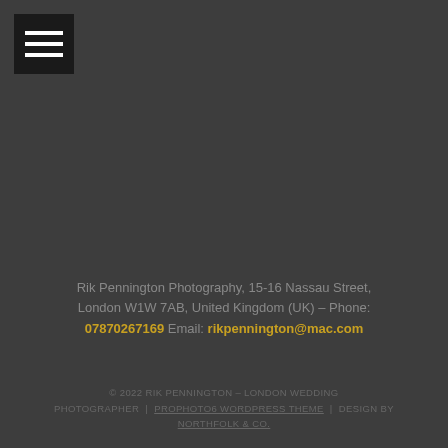[Figure (other): Hamburger menu icon — three white horizontal bars on a dark background square]
Rik Pennington Photography, 15-16 Nassau Street, London W1W 7AB, United Kingdom (UK) – Phone: 07870267169 Email: rikpennington@mac.com
© 2022 RIK PENNINGTON – LONDON WEDDING PHOTOGRAPHER | PROPHOTO6 WORDPRESS THEME | DESIGN BY NORTHFOLK & CO.